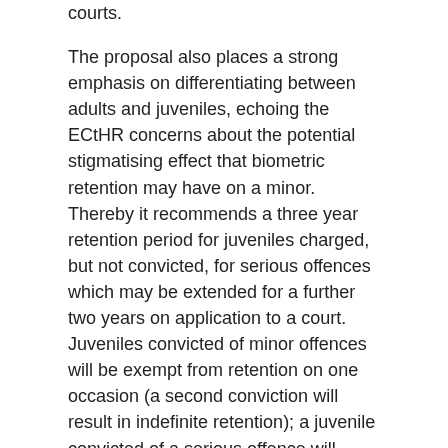courts.
The proposal also places a strong emphasis on differentiating between adults and juveniles, echoing the ECtHR concerns about the potential stigmatising effect that biometric retention may have on a minor. Thereby it recommends a three year retention period for juveniles charged, but not convicted, for serious offences which may be extended for a further two years on application to a court. Juveniles convicted of minor offences will be exempt from retention on one occasion (a second conviction will result in indefinite retention); a juvenile convicted of a serious offence will result in indefinite retention.
In addition, the Chief Constable will have the ability to extend retention of any material, obtained under PACE and terrorism legislation, by periods of two years for the purposes of national security. Under devolution, national security remains an excepted matter in the legislative